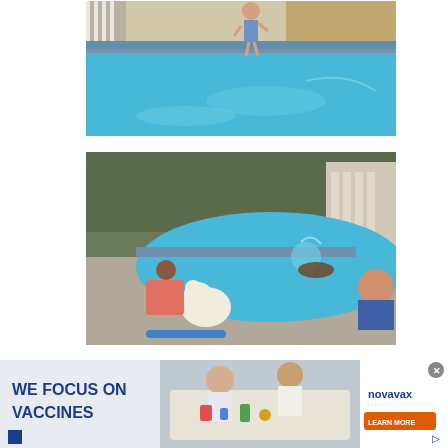[Figure (photo): A young child in swimwear running near or wading into a backyard swimming pool with blue water, wooden deck/fence visible in background.]
[Figure (photo): A girl in a colorful swimsuit and a white fluffy dog standing poolside watching a dog swimming in a backyard pool, with a boy in the pool at right.]
[Figure (photo): Novavax advertisement banner reading 'WE FOCUS ON VACCINES' with an aerial view of scientists at a lab table, alongside a Novavax logo and 'LEARN MORE' button.]